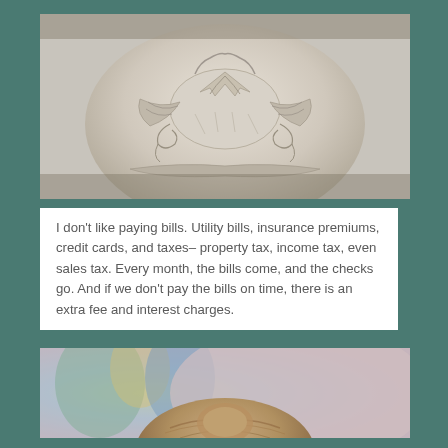[Figure (photo): Close-up photograph of an ornate white marble or stone statue with decorative baroque carvings, drapery and scrollwork details]
I don't like paying bills. Utility bills, insurance premiums, credit cards, and taxes– property tax, income tax, even sales tax. Every month, the bills come, and the checks go. And if we don't pay the bills on time, there is an extra fee and interest charges.
[Figure (photo): Photograph of a person with light brown/blonde hair pulled back, seen from behind, with a blurred colorful background]